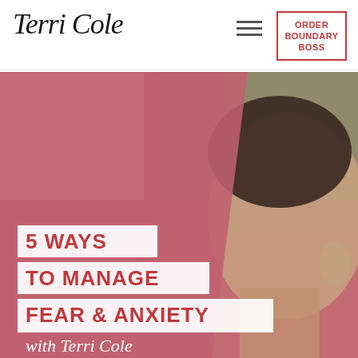Terri Cole | ORDER BOUNDARY BOSS
[Figure (photo): A young person with short dark hair, eyes closed, face tilted upward, photographed in profile against a blurred green outdoor background. The left portion of the image is overlaid with a muted rose/mauve pink diagonal shape. Text overlay reads: '5 WAYS TO MANAGE FEAR & ANXIETY with Terri Cole']